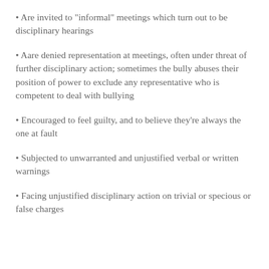Are invited to "informal" meetings which turn out to be disciplinary hearings
Aare denied representation at meetings, often under threat of further disciplinary action; sometimes the bully abuses their position of power to exclude any representative who is competent to deal with bullying
Encouraged to feel guilty, and to believe they're always the one at fault
Subjected to unwarranted and unjustified verbal or written warnings
Facing unjustified disciplinary action on trivial or specious or false charges